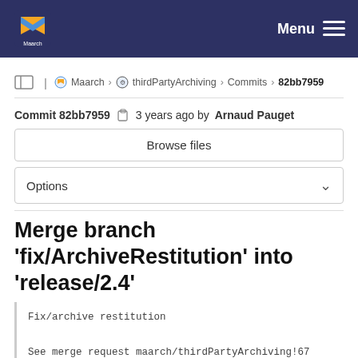Maarch — Menu
Maarch > thirdPartyArchiving > Commits > 82bb7959
Commit 82bb7959 · 3 years ago by Arnaud Pauget
Browse files
Options
Merge branch 'fix/ArchiveRestitution' into 'release/2.4'
Fix/archive restitution

See merge request maarch/thirdPartyArchiving!67